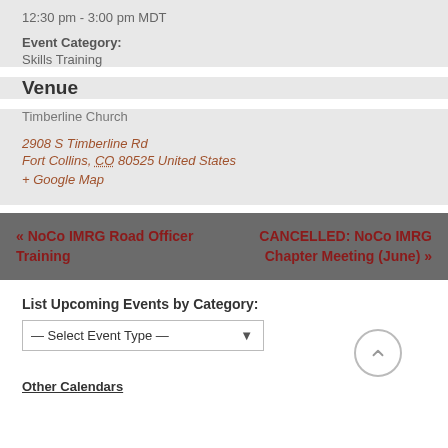12:30 pm - 3:00 pm MDT
Event Category: Skills Training
Venue
Timberline Church
2908 S Timberline Rd
Fort Collins, CO 80525 United States
+ Google Map
« NoCo IMRG Road Officer Training
CANCELLED: NoCo IMRG Chapter Meeting (June) »
List Upcoming Events by Category:
— Select Event Type —
Other Calendars